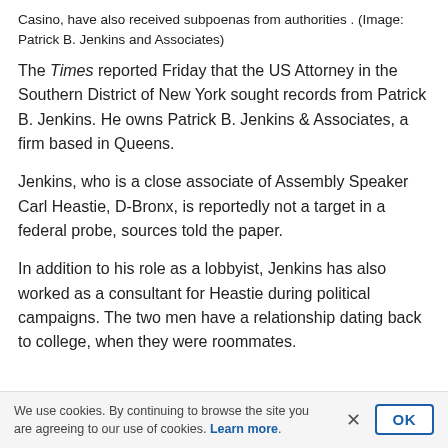Casino, have also received subpoenas from authorities . (Image: Patrick B. Jenkins and Associates)
The Times reported Friday that the US Attorney in the Southern District of New York sought records from Patrick B. Jenkins. He owns Patrick B. Jenkins & Associates, a firm based in Queens.
Jenkins, who is a close associate of Assembly Speaker Carl Heastie, D-Bronx, is reportedly not a target in a federal probe, sources told the paper.
In addition to his role as a lobbyist, Jenkins has also worked as a consultant for Heastie during political campaigns. The two men have a relationship dating back to college, when they were roommates.
We use cookies. By continuing to browse the site you are agreeing to our use of cookies. Learn more.